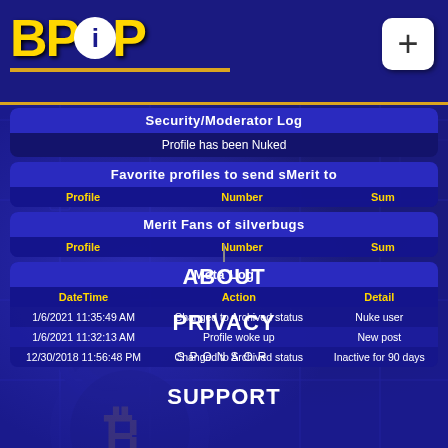[Figure (logo): BPiP logo with yellow bold text and white circle containing blue 'i', with gold underline. Plus button in top right corner.]
Security/Moderator Log
Profile has been Nuked
| Profile | Number | Sum |
| --- | --- | --- |
| Profile | Number | Sum |
| --- | --- | --- |
| DateTime | Action | Detail |
| --- | --- | --- |
| 1/6/2021 11:35:49 AM | Changed to Archived status | Nuke user |
| 1/6/2021 11:32:13 AM | Profile woke up | New post |
| 12/30/2018 11:56:48 PM | Changed to Archived status | Inactive for 90 days |
ABOUT
PRIVACY
SPONSOR
SUPPORT